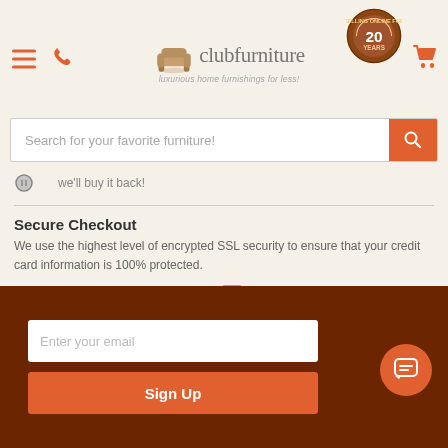clubfurniture — luxurious home furnishings for less!
[Figure (screenshot): Website header with hamburger menu, phone icon, clubfurniture logo with armchair, 20 years selling online badge, and cart icon]
[Figure (screenshot): Search bar with placeholder text 'Search for your favorite furniture!' and orange search button]
we'll buy it back!
Secure Checkout
We use the highest level of encrypted SSL security to ensure that your credit card information is 100% protected.
[Figure (infographic): Payment method icons: VISA, Mastercard, AMEX, PayPal, Shopify Secure]
[Figure (screenshot): Email signup section with dark brown background, email input field and Sign Up button, and orange chat bubble button]